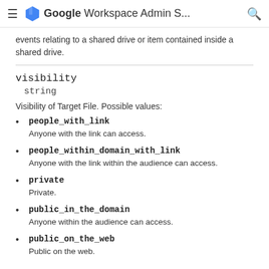Google Workspace Admin S...
events relating to a shared drive or item contained inside a shared drive.
visibility
string
Visibility of Target File. Possible values:
people_with_link
Anyone with the link can access.
people_within_domain_with_link
Anyone with the link within the audience can access.
private
Private.
public_in_the_domain
Anyone within the audience can access.
public_on_the_web
Public on the web.